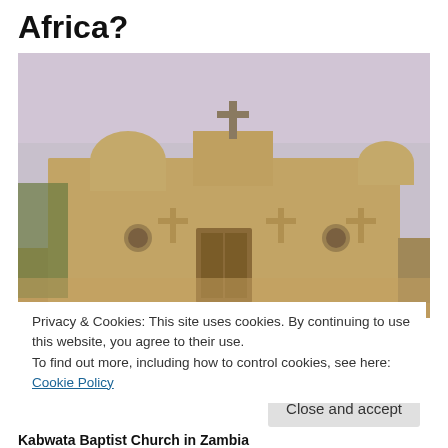Africa?
[Figure (photo): A mud-brick African church building with a wooden cross on the rooftop and three carved crosses on the facade, with a wooden door in the center. Labeled as Kabwata Baptist Church in Zambia.]
Privacy & Cookies: This site uses cookies. By continuing to use this website, you agree to their use.
To find out more, including how to control cookies, see here: Cookie Policy
Close and accept
Kabwata Baptist Church in Zambia